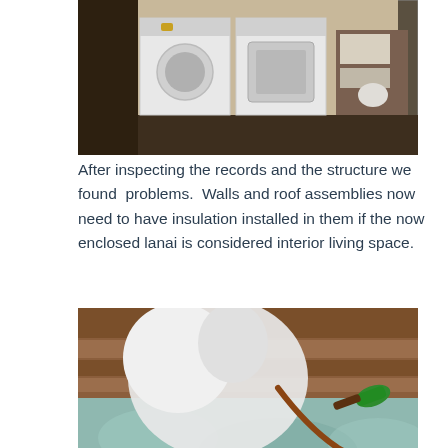[Figure (photo): Interior photo showing a white washer and dryer appliances in a utility area with wooden shelving and various items in the background.]
After inspecting the records and the structure we found  problems.  Walls and roof assemblies now need to have insulation installed in them if the now enclosed lanai is considered interior living space.
[Figure (photo): Close-up photo of a person in a white protective suit spraying insulation foam with a green-tipped hose applicator onto wooden roof rafters/boards. The foam appears as a light blue-gray coating on the wood.]
If the lanai is a bedroom, the windows must meet egress requirements for a fire situation and the